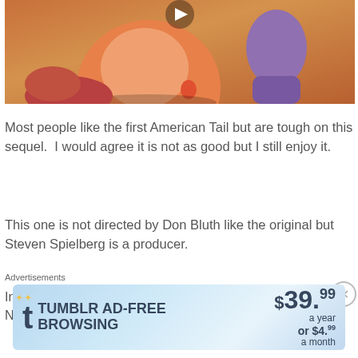[Figure (screenshot): Screenshot of an animated movie scene showing cartoon characters including a large round orange creature and a tall purple creature, from An American Tail: Fievel Goes West]
Most people like the first American Tail but are tough on this sequel.  I would agree it is not as good but I still enjoy it.
This one is not directed by Don Bluth like the original but Steven Spielberg is a producer.
In part 2 we get the Mousekewitz family deciding to leave New York for the promises of the West (streets weren't
Advertisements
[Figure (screenshot): Tumblr Ad-Free Browsing advertisement banner showing $39.99 a year or $4.99 a month pricing]